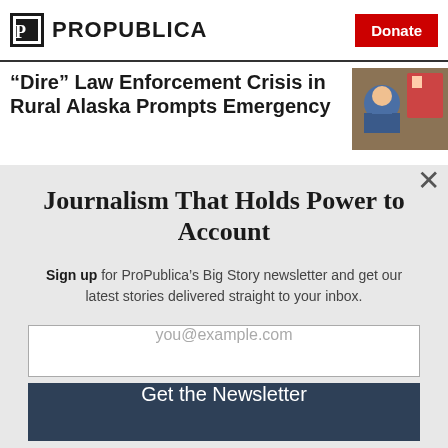ProPublica | Donate
“Dire” Law Enforcement Crisis in Rural Alaska Prompts Emergency
[Figure (photo): Photo of people outdoors near a red building]
Journalism That Holds Power to Account
Sign up for ProPublica’s Big Story newsletter and get our latest stories delivered straight to your inbox.
you@example.com
Get the Newsletter
No thanks, I’m all set
This site is protected by reCAPTCHA and the Google Privacy Policy and Terms of Service apply.